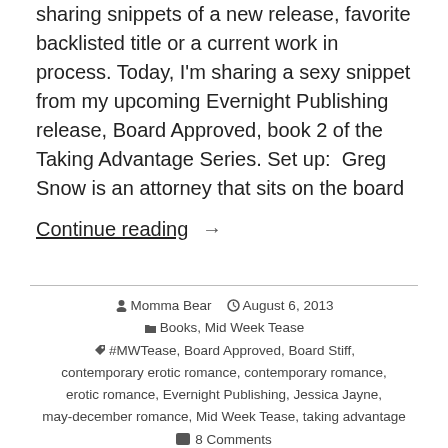sharing snippets of a new release, favorite backlisted title or a current work in process. Today, I'm sharing a sexy snippet from my upcoming Evernight Publishing release, Board Approved, book 2 of the Taking Advantage Series. Set up:  Greg Snow is an attorney that sits on the board
Continue reading →
Momma Bear  August 6, 2013  Books, Mid Week Tease  #MWTease, Board Approved, Board Stiff, contemporary erotic romance, contemporary romance, erotic romance, Evernight Publishing, Jessica Jayne, may-december romance, Mid Week Tease, taking advantage  8 Comments